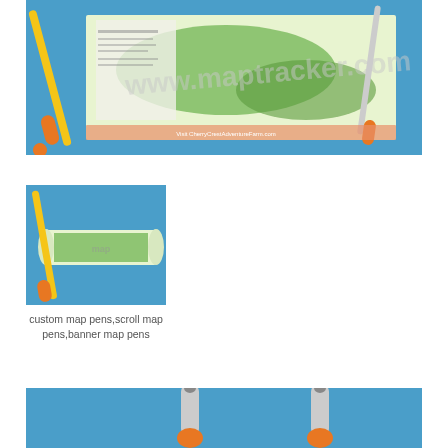[Figure (photo): Large photo of orange and yellow custom map pens laid on a colorful aerial/map brochure against a blue background. A watermark is visible across the center.]
[Figure (photo): Thumbnail photo of a custom map pen with a scroll/banner map unrolled, showing a green aerial map graphic, against a blue background.]
custom map pens,scroll map pens,banner map pens
[Figure (photo): Bottom partial photo showing two orange-tipped map pens standing upright against a blue background.]